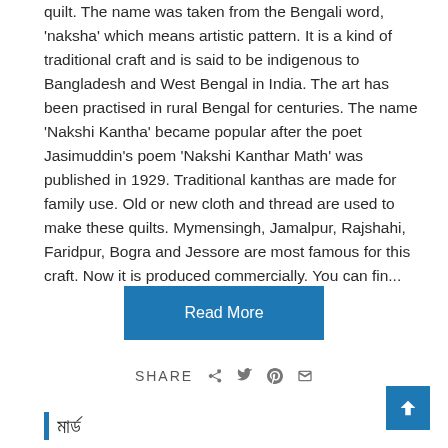quilt. The name was taken from the Bengali word, 'naksha' which means artistic pattern. It is a kind of traditional craft and is said to be indigenous to Bangladesh and West Bengal in India. The art has been practised in rural Bengal for centuries. The name 'Nakshi Kantha' became popular after the poet Jasimuddin's poem 'Nakshi Kanthar Math' was published in 1929. Traditional kanthas are made for family use. Old or new cloth and thread are used to make these quilts. Mymensingh, Jamalpur, Rajshahi, Faridpur, Bogra and Jessore are most famous for this craft. Now it is produced commercially. You can fin...
Read More
SHARE
মার্ড